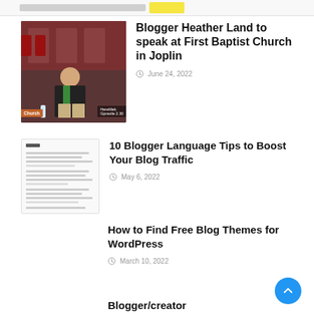[Figure (screenshot): Top navigation bar of a website with a yellow button]
[Figure (photo): Man in dark suit with green tie seated at what appears to be a church event, with red chairs visible in background]
Blogger Heather Land to speak at First Baptist Church in Joplin
June 24, 2022
[Figure (screenshot): Screenshot of a blog or list article page]
10 Blogger Language Tips to Boost Your Blog Traffic
May 6, 2022
How to Find Free Blog Themes for WordPress
March 10, 2022
Blogger/creator